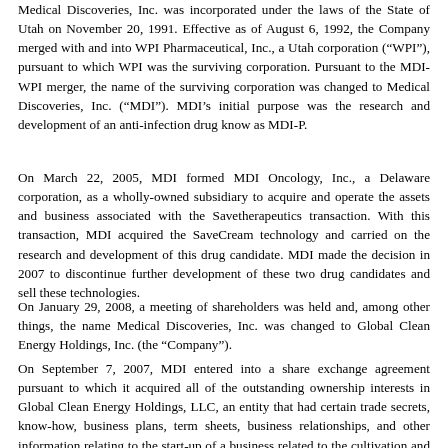Medical Discoveries, Inc. was incorporated under the laws of the State of Utah on November 20, 1991. Effective as of August 6, 1992, the Company merged with and into WPI Pharmaceutical, Inc., a Utah corporation (“WPI”), pursuant to which WPI was the surviving corporation. Pursuant to the MDI-WPI merger, the name of the surviving corporation was changed to Medical Discoveries, Inc. (“MDI”). MDI’s initial purpose was the research and development of an anti-infection drug know as MDI-P.
On March 22, 2005, MDI formed MDI Oncology, Inc., a Delaware corporation, as a wholly-owned subsidiary to acquire and operate the assets and business associated with the Savetherapeutics transaction. With this transaction, MDI acquired the SaveCream technology and carried on the research and development of this drug candidate. MDI made the decision in 2007 to discontinue further development of these two drug candidates and sell these technologies.
On January 29, 2008, a meeting of shareholders was held and, among other things, the name Medical Discoveries, Inc. was changed to Global Clean Energy Holdings, Inc. (the “Company”).
On September 7, 2007, MDI entered into a share exchange agreement pursuant to which it acquired all of the outstanding ownership interests in Global Clean Energy Holdings, LLC, an entity that had certain trade secrets, know-how, business plans, term sheets, business relationships, and other information relating to the start-up of a business related to the cultivation and production of seed oil from the seed of the Jatropha plant. With this transaction, MDI commenced the research and development of a business whose purpose will be